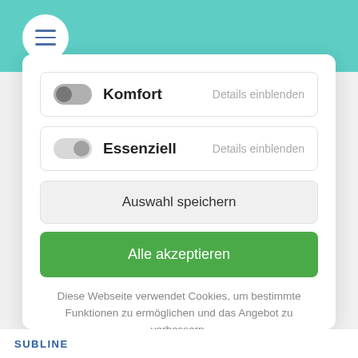[Figure (screenshot): Teal/green top navigation bar with hamburger menu icon in white circle]
Komfort · Details einblenden
Essenziell · Details einblenden
Auswahl speichern
Alle akzeptieren
Diese Webseite verwendet Cookies, um bestimmte Funktionen zu ermöglichen und das Angebot zu verbessern.
Impressum · Datenschutz
SUBLINE